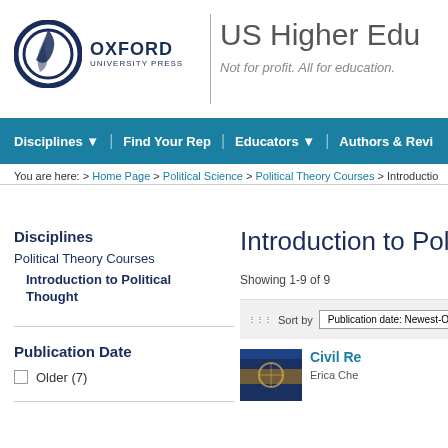[Figure (logo): Oxford University Press circular logo with text OXFORD UNIVERSITY PRESS]
US Higher Education
Not for profit. All for education.
Disciplines ▼  |  Find Your Rep  |  Educators ▼  |  Authors & Revi
You are here: > Home Page > Political Science > Political Theory Courses > Introductio
Disciplines
Political Theory Courses
Introduction to Political Thought
Publication Date
Older (7)
Introduction to Politi
Showing 1-9 of 9
Sort by  Publication date: Newest-Oldest
Civil Re
Erica Che